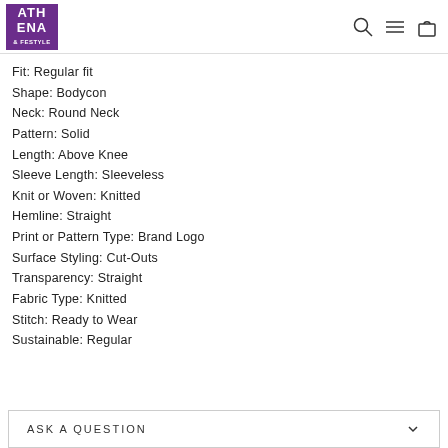ATHENA & LIFESTYLE
Fit: Regular fit
Shape: Bodycon
Neck: Round Neck
Pattern: Solid
Length: Above Knee
Sleeve Length: Sleeveless
Knit or Woven: Knitted
Hemline: Straight
Print or Pattern Type: Brand Logo
Surface Styling: Cut-Outs
Transparency: Straight
Fabric Type: Knitted
Stitch: Ready to Wear
Sustainable: Regular
ASK A QUESTION